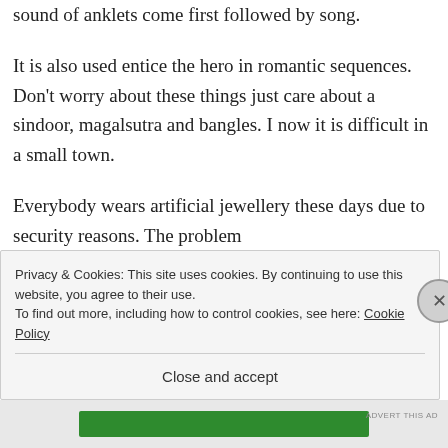sound of anklets come first followed by song.
It is also used entice the hero in romantic sequences. Don't worry about these things just care about a sindoor, magalsutra and bangles. I now it is difficult in a small town.
Everybody wears artificial jewellery these days due to security reasons. The problem
Privacy & Cookies: This site uses cookies. By continuing to use this website, you agree to their use.
To find out more, including how to control cookies, see here: Cookie Policy
Close and accept